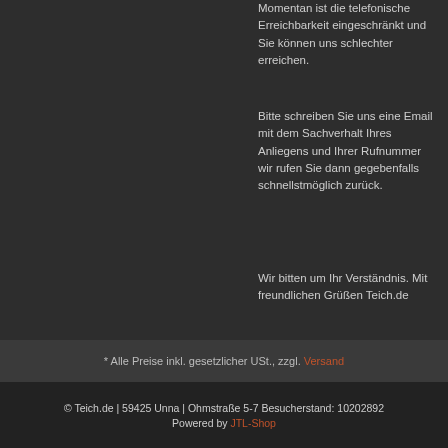Momentan ist die telefonische Erreichbarkeit eingeschränkt und Sie können uns schlechter erreichen.
Bitte schreiben Sie uns eine Email mit dem Sachverhalt Ihres Anliegens und Ihrer Rufnummer wir rufen Sie dann gegebenfalls schnellstmöglich zurück.
Wir bitten um Ihr Verständnis. Mit freundlichen Grüßen Teich.de
* Alle Preise inkl. gesetzlicher USt., zzgl. Versand
© Teich.de | 59425 Unna | Ohmstraße 5-7 Besucherstand: 10202892 Powered by JTL-Shop